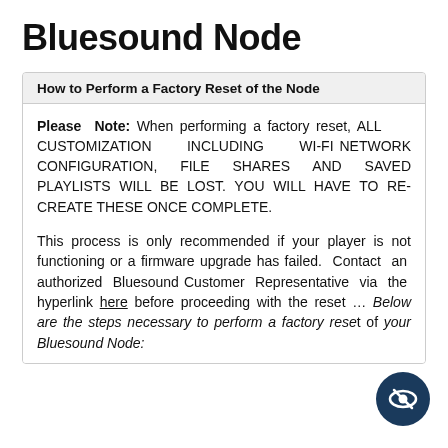Bluesound Node
How to Perform a Factory Reset of the Node
Please Note: When performing a factory reset, ALL CUSTOMIZATION INCLUDING WI-FI NETWORK CONFIGURATION, FILE SHARES AND SAVED PLAYLISTS WILL BE LOST. YOU WILL HAVE TO RE-CREATE THESE ONCE COMPLETE.
This process is only recommended if your player is not functioning or a firmware upgrade has failed. Contact an authorized Bluesound Customer Representative via the hyperlink here before proceeding with the reset ... Below are the steps necessary to perform a factory reset of your Bluesound Node: